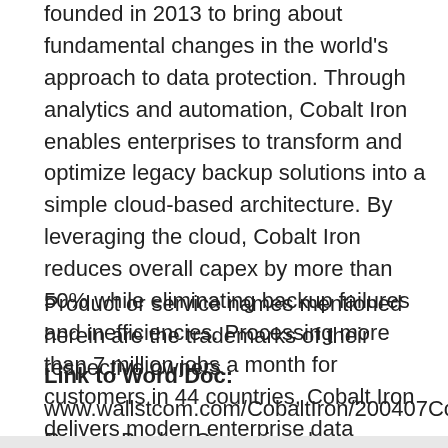founded in 2013 to bring about fundamental changes in the world's approach to data protection. Through analytics and automation, Cobalt Iron enables enterprises to transform and optimize legacy backup solutions into a simple cloud-based architecture. By leveraging the cloud, Cobalt Iron reduces overall capex by more than 50% while eliminating backup failures and inefficiencies. Processing more than 7 million jobs a month for customers in 44 countries, Cobalt Iron delivers modern enterprise data protection for enterprise customers.
Product or service names mentioned herein are the trademarks of their respective owners.
Link to Word Doc: www.wallstcom.com/CobaltIron/200407CobaltIron-RemoteBackupCampaign.docx